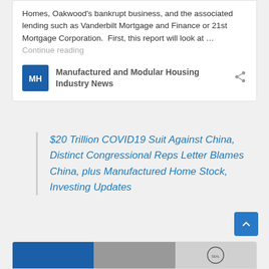Homes, Oakwood's bankrupt business, and the associated lending such as Vanderbilt Mortgage and Finance or 21st Mortgage Corporation.  First, this report will look at … Continue reading
Manufactured and Modular Housing Industry News
$20 Trillion COVID19 Suit Against China, Distinct Congressional Reps Letter Blames China, plus Manufactured Home Stock, Investing Updates
[Figure (screenshot): Bottom card with image strip showing colored sections]